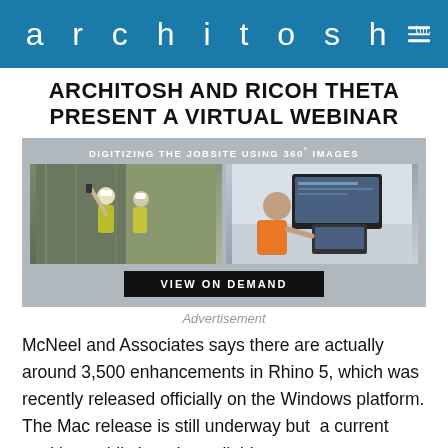architosh tm.
ARCHITOSH AND RICOH THETA PRESENT A VIRTUAL WEBINAR
[Figure (infographic): Advertisement banner for Architosh and Ricoh Theta virtual webinar on digitizing the jobsite using 360° images, showing two construction/technology photos and a 'VIEW ON DEMAND' button]
Advertisement
McNeel and Associates says there are actually around 3,500 enhancements in Rhino 5, which was recently released officially on the Windows platform. The Mac release is still underway but a current working public beta is available.